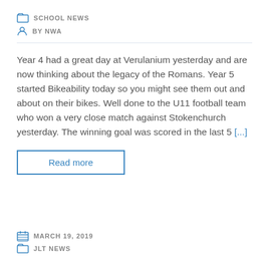SCHOOL NEWS
BY NWA
Year 4 had a great day at Verulanium yesterday and are now thinking about the legacy of the Romans. Year 5 started Bikeability today so you might see them out and about on their bikes. Well done to the U11 football team who won a very close match against Stokenchurch yesterday. The winning goal was scored in the last 5 [...]
Read more
MARCH 19, 2019
JLT NEWS